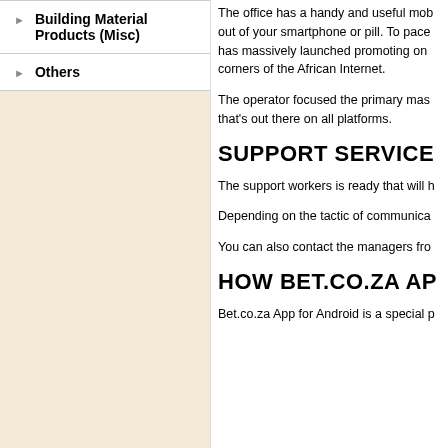Building Material Products (Misc)
Others
The office has a handy and useful mob out of your smartphone or pill. To pace has massively launched promoting on corners of the African Internet.
The operator focused the primary mas that's out there on all platforms.
SUPPORT SERVICE
The support workers is ready that will h
Depending on the tactic of communica
You can also contact the managers fro
HOW BET.CO.ZA AP
Bet.co.za App for Android is a special p